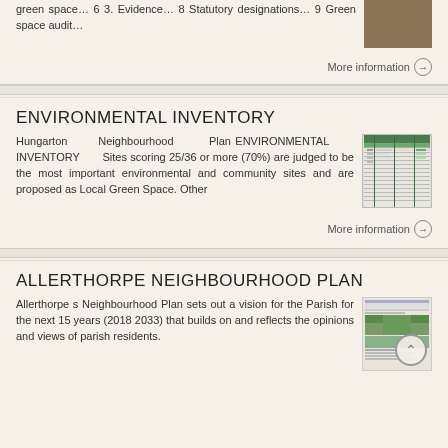green space… 6 3. Evidence… 8 Statutory designations… 9 Green space audit…
More information →
ENVIRONMENTAL INVENTORY
Hungarton Neighbourhood Plan ENVIRONMENTAL INVENTORY Sites scoring 25/36 or more (70%) are judged to be the most important environmental and community sites and are proposed as Local Green Space. Other
[Figure (table-as-image): Environmental inventory table document thumbnail with green header rows]
More information →
ALLERTHORPE NEIGHBOURHOOD PLAN
Allerthorpe s Neighbourhood Plan sets out a vision for the Parish for the next 15 years (2018 2033) that builds on and reflects the opinions and views of parish residents.
[Figure (photo): Allerthorpe Neighbourhood Plan document thumbnail with landscape photo]